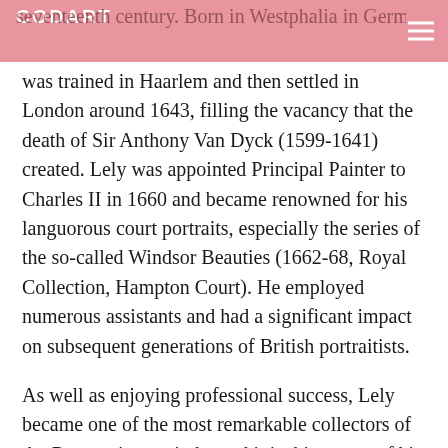CODART
seventeenth century. Born in Westphalia in Germany, he was trained in Haarlem and then settled in London around 1643, filling the vacancy that the death of Sir Anthony Van Dyck (1599-1641) created. Lely was appointed Principal Painter to Charles II in 1660 and became renowned for his languorous court portraits, especially the series of the so-called Windsor Beauties (1662-68, Royal Collection, Hampton Court). He employed numerous assistants and had a significant impact on subsequent generations of British portraitists.
As well as enjoying professional success, Lely became one of the most remarkable collectors of the Restoration period – and it is this aspect of his activities that can be studied in the current exhibition. He is recorded as having acquired nearly 10,000 drawings and prints and his enthusiasm for collecting such works by earlier and